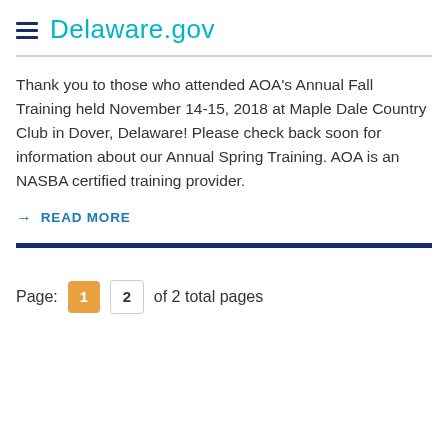Delaware.gov
Thank you to those who attended AOA's Annual Fall Training held November 14-15, 2018 at Maple Dale Country Club in Dover, Delaware! Please check back soon for information about our Annual Spring Training. AOA is an NASBA certified training provider.
→ READ MORE
Page: 1 2 of 2 total pages